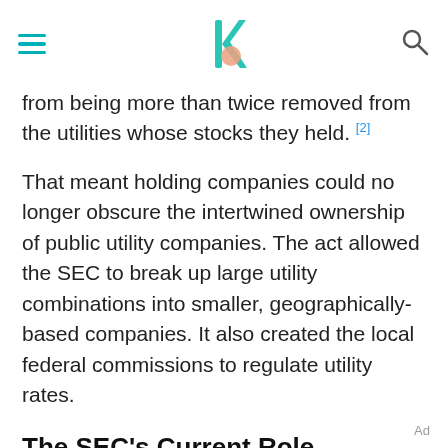[navigation bar with hamburger menu, logo, and search icon]
from being more than twice removed from the utilities whose stocks they held. [2]
That meant holding companies could no longer obscure the intertwined ownership of public utility companies. The act allowed the SEC to break up large utility combinations into smaller, geographically-based companies. It also created the local federal commissions to regulate utility rates.
The SEC's Current Role
The SEC gives investors confidence in the U.S. stock market. That's critical to the strong functioning of the U.S. economy. It does this by providing investors...